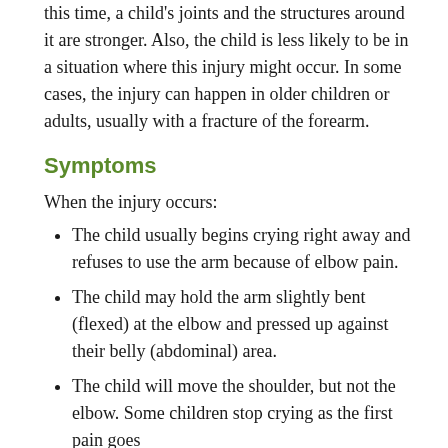this time, a child's joints and the structures around it are stronger. Also, the child is less likely to be in a situation where this injury might occur. In some cases, the injury can happen in older children or adults, usually with a fracture of the forearm.
Symptoms
When the injury occurs:
The child usually begins crying right away and refuses to use the arm because of elbow pain.
The child may hold the arm slightly bent (flexed) at the elbow and pressed up against their belly (abdominal) area.
The child will move the shoulder, but not the elbow. Some children stop crying as the first pain goes